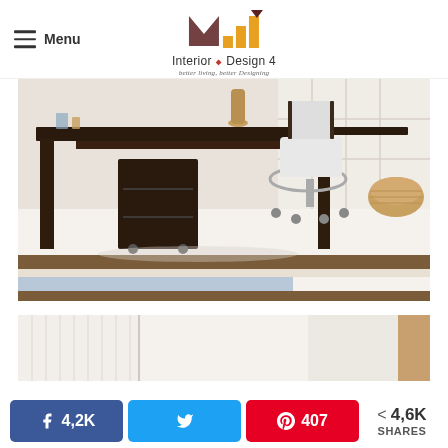Menu | Interior Design 4 — better living, better Designing
[Figure (photo): Home office with dark espresso wood L-shaped desk, rolling file cabinet with drawers, modern white and chrome office chair, woven rattan basket, and striped rug in brown, cream, and blue tones on a white floor]
[Figure (photo): Second interior design photo partially visible — light neutral walls with vertical paneling]
Facebook 4,2K | Twitter | Pinterest 407 | < 4,6K SHARES